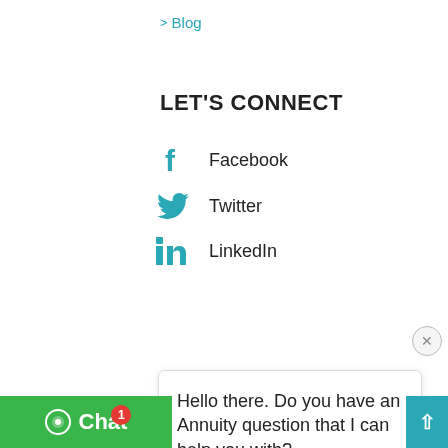> Blog
LET'S CONNECT
Facebook
Twitter
LinkedIn
[Figure (screenshot): Chat widget popup with message: Hello there. Do you have an Annuity question that I can help you with? Sender: Gator, just now. Close X button in top right.]
annuity. All content is for educational purposes only. No product companies have endorsed the reviews on this site, nor is [site].com compensated for reviews. Reviews are posted at request of readers so they could see an independent [perspective] when breaking down the positives and negatives of annuity contracts. Before purchasing any investment product be sure to do your own due diligence and consult a [professional]
[Figure (screenshot): Green Chat button with chat icon and notification badge showing 1, and teal scroll-to-top arrow button on the right]